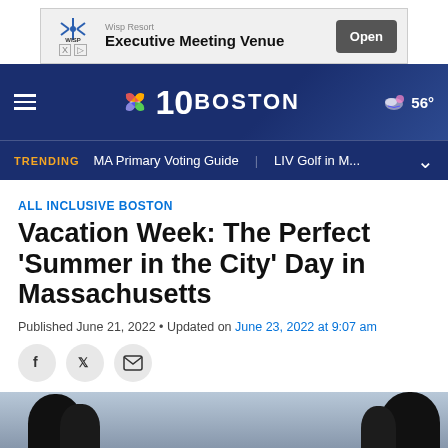[Figure (screenshot): Advertisement banner for Wisp Resort Executive Meeting Venue with Open button]
NBC 10 Boston — navigation bar with hamburger menu, NBC 10 Boston logo, and weather showing 56°
TRENDING  MA Primary Voting Guide  LIV Golf in M...
ALL INCLUSIVE BOSTON
Vacation Week: The Perfect ‘Summer in the City’ Day in Massachusetts
Published June 21, 2022 • Updated on June 23, 2022 at 9:07 am
[Figure (photo): Outdoor photo showing silhouettes of people/statues against a light sky background]